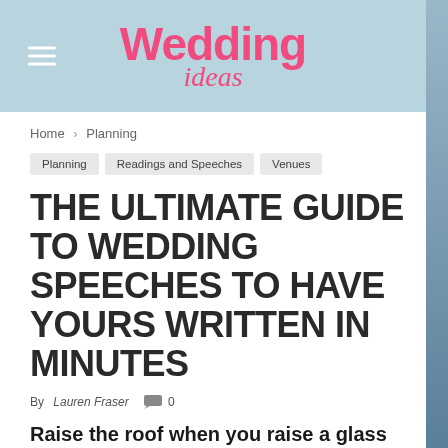Wedding ideas
Home › Planning
Planning | Readings and Speeches | Venues
THE ULTIMATE GUIDE TO WEDDING SPEECHES TO HAVE YOURS WRITTEN IN MINUTES
By Lauren Fraser 0
Raise the roof when you raise a glass